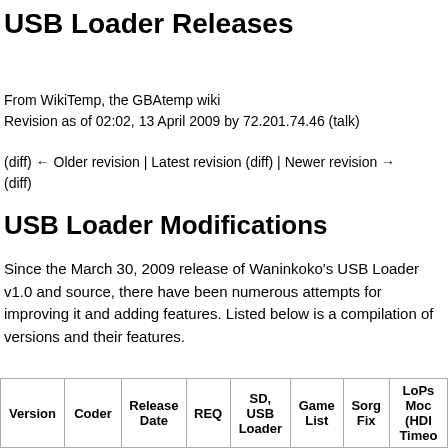USB Loader Releases
From WikiTemp, the GBAtemp wiki
Revision as of 02:02, 13 April 2009 by 72.201.74.46 (talk)
(diff) ← Older revision | Latest revision (diff) | Newer revision → (diff)
USB Loader Modifications
Since the March 30, 2009 release of Waninkoko's USB Loader v1.0 and source, there have been numerous attempts for improving it and adding features. Listed below is a compilation of versions and their features.
| Version | Coder | Release Date | REQ | SD, USB Loader | Game List | Sorg Fix | LoPs Mod (HDD Timeo... |
| --- | --- | --- | --- | --- | --- | --- | --- |